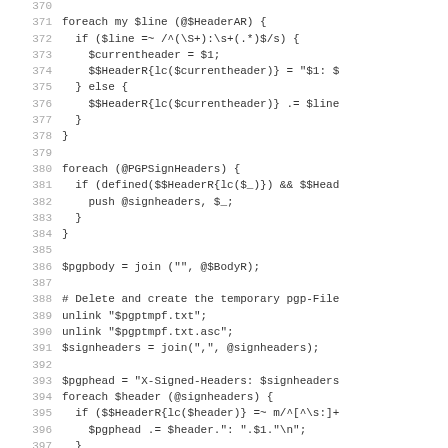[Figure (screenshot): Source code listing in monospace font showing Perl code lines 370-402, with line numbers in gray on the left, and two blue hyperlinked diff hashes (74407146, dc88d139) on the far left for lines 400-401.]